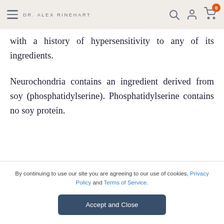DR. ALEX RINEHART
with a history of hypersensitivity to any of its ingredients.
Neurochondria contains an ingredient derived from soy (phosphatidylserine). Phosphatidylserine contains no soy protein.
By continuing to browse our site you agree to our use of cookies, revised privacy policy and terms of
By continuing to use our site you are agreeing to our use of cookies, Privacy Policy and Terms of Service.
Accept and Close